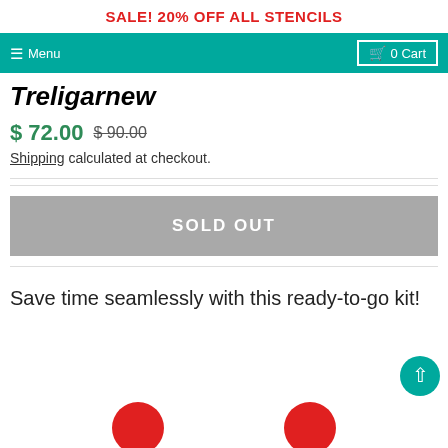SALE! 20% OFF ALL STENCILS
Menu  |  0 Cart
Treligarnew
$ 72.00  $ 90.00
Shipping calculated at checkout.
SOLD OUT
Save time seamlessly with this ready-to-go kit!